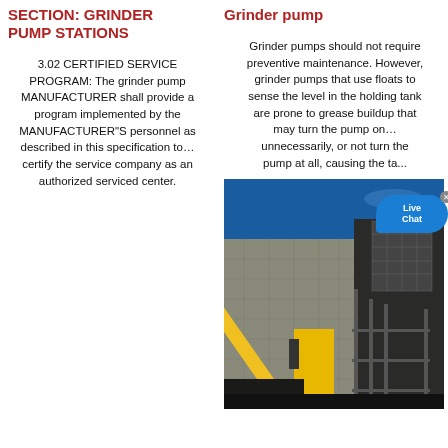SECTION: GRINDER PUMP STATIONS
3.02 CERTIFIED SERVICE PROGRAM: The grinder pump MANUFACTURER shall provide a program implemented by the MANUFACTURER"S personnel as described in this specification to… certify the service company as an authorized serviced center.
Grinder pump
Grinder pumps should not require preventive maintenance. However, grinder pumps that use floats to sense the level in the holding tank are prone to grease buildup that may turn the pump on… unnecessarily, or not turn pump at all, causing the ta...
[Figure (photo): Construction photo showing a yellow crane lifting equipment at an industrial site with concrete walls, scaffolding, and blue sky in the background.]